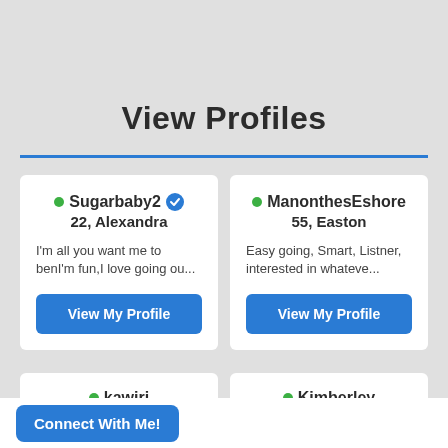View Profiles
Sugarbaby2 (verified) · 22, Alexandra · I'm all you want me to benI'm fun,I love going ou...
ManonthesEshore · 55, Easton · Easy going, Smart, Listner, interested in whateve...
kawiri
Kimberley
Connect With Me!